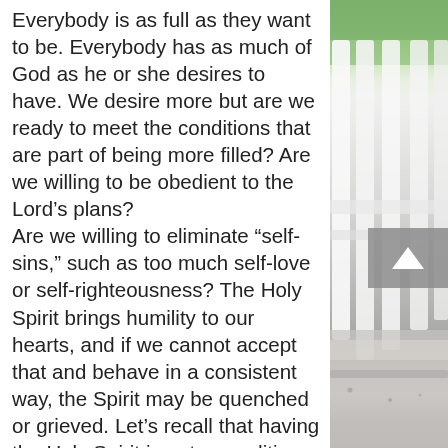Everybody is as full as they want to be. Everybody has as much of God as he or she desires to have. We desire more but are we ready to meet the conditions that are part of being more filled? Are we willing to be obedient to the Lord’s plans? Are we willing to eliminate “self-sins,” such as too much self-love or self-righteousness? The Holy Spirit brings humility to our hearts, and if we cannot accept that and behave in a consistent way, the Spirit may be quenched or grieved. Let’s recall that having the Holy Spirit is not a condition which can be reversed. The Holy Spirit can leave us and move on when he realizes that he is not wanted. Tozer says that the Holy
[Figure (photo): Blurred background photo showing white fence/railing posts and greenery, positioned on the right side of the page. A back-to-top button (chevron up arrow) is overlaid on the photo.]